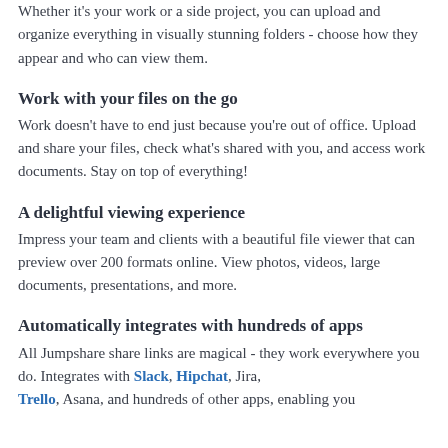Whether it's your work or a side project, you can upload and organize everything in visually stunning folders - choose how they appear and who can view them.
Work with your files on the go
Work doesn't have to end just because you're out of office. Upload and share your files, check what's shared with you, and access work documents. Stay on top of everything!
A delightful viewing experience
Impress your team and clients with a beautiful file viewer that can preview over 200 formats online. View photos, videos, large documents, presentations, and more.
Automatically integrates with hundreds of apps
All Jumpshare share links are magical - they work everywhere you do. Integrates with Slack, Hipchat, Jira, Trello, Asana, and hundreds of other apps, enabling you